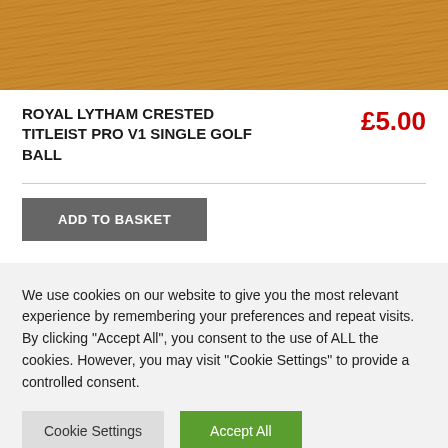[Figure (photo): Close-up photo of wood grain texture with warm golden-brown tones and linear grain patterns]
ROYAL LYTHAM CRESTED TITLEIST PRO V1 SINGLE GOLF BALL
£5.00
ADD TO BASKET
We use cookies on our website to give you the most relevant experience by remembering your preferences and repeat visits. By clicking "Accept All", you consent to the use of ALL the cookies. However, you may visit "Cookie Settings" to provide a controlled consent.
Cookie Settings
Accept All